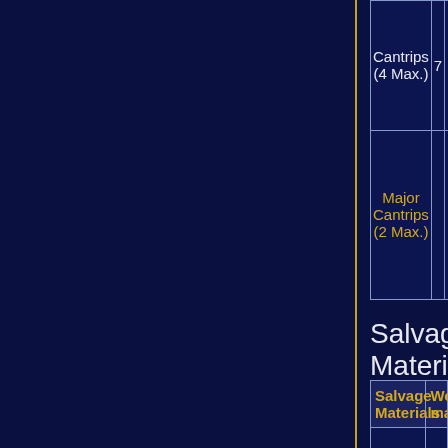| Cantrips (4 Max.) | 7 |  |  |
| Major Cantrips (2 Max.) |  |  |  |
Salvage Materials
| Salvage Materials | Work-manship |
| --- | --- |
|  |  |
|  |  |
|  |  |